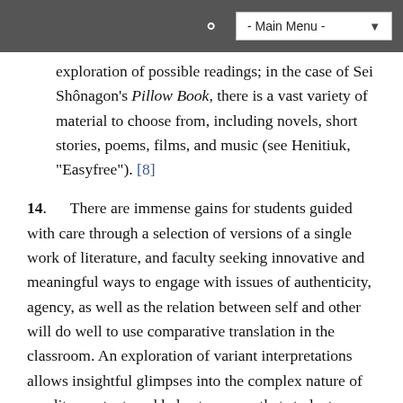- Main Menu -
exploration of possible readings; in the case of Sei Shônagon's Pillow Book, there is a vast variety of material to choose from, including novels, short stories, poems, films, and music (see Henitiuk, "Easyfree"). [8]
14.   There are immense gains for students guided with care through a selection of versions of a single work of literature, and faculty seeking innovative and meaningful ways to engage with issues of authenticity, agency, as well as the relation between self and other will do well to use comparative translation in the classroom. An exploration of variant interpretations allows insightful glimpses into the complex nature of any literary text, and helps to ensure that students are able to read critically and productively. It reveals the multiple "afterlives" (Benjamin) that a given work of literature may enjoy in